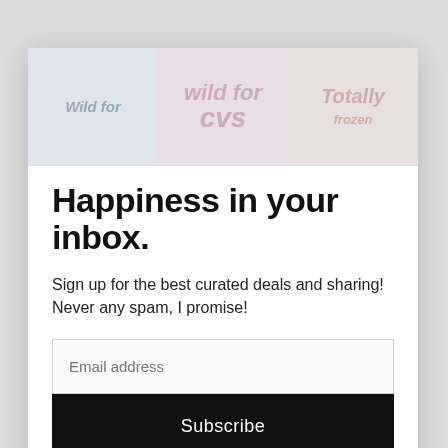[Figure (screenshot): Modal popup overlay on a website. Modal contains three blog header images side by side, a bold headline 'Happiness in your inbox.', descriptive text, an email input field, and a Subscribe button. Background shows 'SEEN ON' text with logos and footer affiliate disclaimer text.]
Happiness in your inbox.
Sign up for the best curated deals and sharing!
Never any spam, I promise!
Email address
Subscribe
SEEN ON
SHE SAVED, LLC IS A PARTICIPANT IN THE AMAZON SERVICES LLC ASSOCIATES PROGRAM, AN AFFILIATE ADVERTISING PROGRAM DESIGNED TO PROVIDE A MEANS FOR SITES TO EARN ADVERTISING